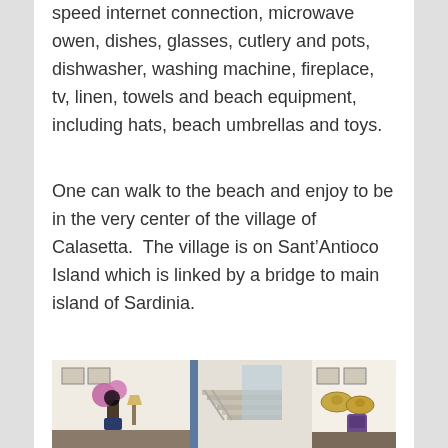speed internet connection, microwave owen, dishes, glasses, cutlery and pots, dishwasher, washing machine, fireplace, tv, linen, towels and beach equipment, including hats, beach umbrellas and toys.
One can walk to the beach and enjoy to be in the very center of the village of Calasetta.  The village is on Sant’Antioco Island which is linked by a bridge to main island of Sardinia.
[Figure (photo): Interior photo of a Mediterranean-style house showing a living area with white walls, a staircase, pink/purple flowers in a vase, and straw hats hanging on the wall.]